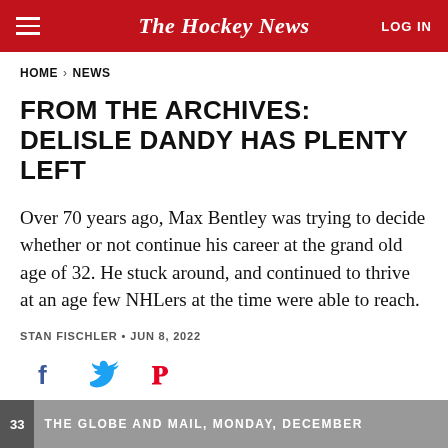The Hockey News — LOG IN
HOME > NEWS
FROM THE ARCHIVES: DELISLE DANDY HAS PLENTY LEFT
Over 70 years ago, Max Bentley was trying to decide whether or not continue his career at the grand old age of 32. He stuck around, and continued to thrive at an age few NHLers at the time were able to reach.
STAN FISCHLER • JUN 8, 2022
[Figure (other): Social sharing icons: Facebook (f), Twitter (bird), Pinterest (P)]
[Figure (photo): Partial newspaper image: THE GLOBE AND MAIL, MONDAY, DECEMBER...]